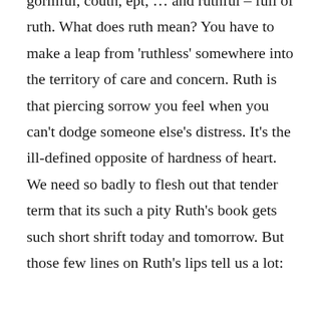gormful, couth, ept, … and ruthful – full of ruth. What does ruth mean? You have to make a leap from 'ruthless' somewhere into the territory of care and concern. Ruth is that piercing sorrow you feel when you can't dodge someone else's distress. It's the ill-defined opposite of hardness of heart. We need so badly to flesh out that tender term that its such a pity Ruth's book gets such short shrift today and tomorrow. But those few lines on Ruth's lips tell us a lot: